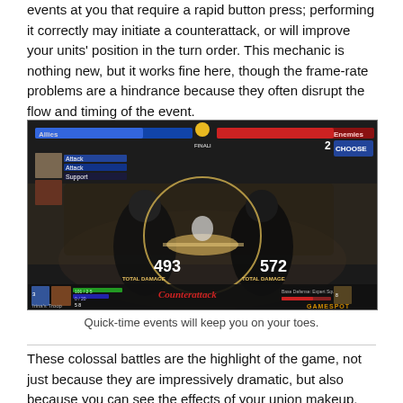events at you that require a rapid button press; performing it correctly may initiate a counterattack, or will improve your units' position in the turn order. This mechanic is nothing new, but it works fine here, though the frame-rate problems are a hindrance because they often disrupt the flow and timing of the event.
[Figure (screenshot): A game screenshot showing a quick-time event battle scene with two combatants, HUD elements showing Allies and Enemies health bars, damage numbers 493 and 672, Total Damage counters, and a circular timing indicator in the center. Bottom shows unit info including Irina's Troop and Base Defense: Expert Squad. GameSpot watermark visible.]
Quick-time events will keep you on your toes.
These colossal battles are the highlight of the game, not just because they are impressively dramatic, but also because you can see the effects of your union makeup, formations, and in-